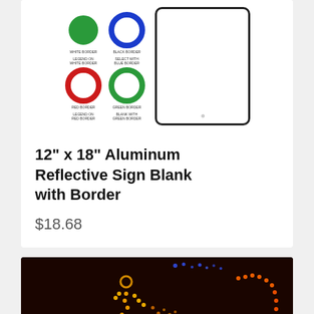[Figure (photo): Product image showing aluminum reflective sign blank options: green circle (white border), blue circle (black border), red circle (white/red border), green circle (green border), and a blank white rectangular sign panel with rounded corners and border]
12" x 18" Aluminum Reflective Sign Blank with Border
$18.68
[Figure (photo): Dark photo showing an LED light display/decoration depicting a figure (person or animal) next to a small house/outhouse structure, made of orange and red LED lights against a dark background with some blue lights at the top]